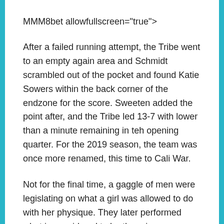MMM8bet allowfullscreen="true">
After a failed running attempt, the Tribe went to an empty again area and Schmidt scrambled out of the pocket and found Katie Sowers within the back corner of the endzone for the score. Sweeten added the point after, and the Tribe led 13-7 with lower than a minute remaining in teh opening quarter. For the 2019 season, the team was once more renamed, this time to Cali War.
Not for the final time, a gaggle of men were legislating on what a girl was allowed to do with her physique. They later performed what is considered to be the primary women's international, in opposition to a French aspect led by the pioneering Alice Milliat, and toured the country with stops in Paris, Roubaix, Le Havre and Rouen. While these games have been greater than mere novelty acts, crowds did drop off as the rising recognition of the men's game got here to dominate public interest. In a world the place